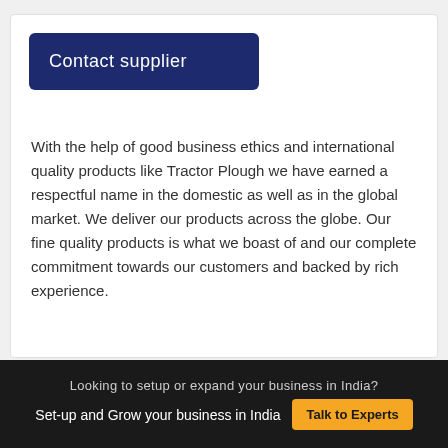Contact supplier
With the help of good business ethics and international quality products like Tractor Plough we have earned a respectful name in the domestic as well as in the global market. We deliver our products across the globe. Our fine quality products is what we boast of and our complete commitment towards our customers and backed by rich experience.
Looking to setup or expand your business in India? Set-up and Grow your business in India  Talk to Experts